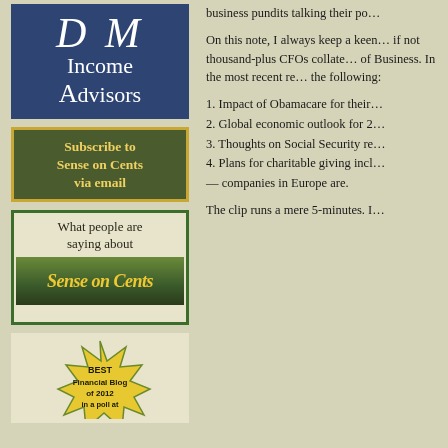[Figure (logo): DM Income Advisors logo — dark blue box with white italic DM and Income Advisors text]
[Figure (illustration): Subscribe to Sense on Cents via email — dark olive green box with gold border and yellow bold text]
[Figure (illustration): What people are saying about Sense on Cents — beige box with green border, heading text and stylized gold italic logo on dark green banner]
[Figure (illustration): Best Financial Blog of 2012 in a poll at — starburst badge on beige background]
business pundits talking their po…
On this note, I always keep a keen… if not thousand-plus CFOs collate… of Business. In the most recent re… the following:
1. Impact of Obamacare for their…
2. Global economic outlook for 2…
3. Thoughts on Social Security re…
4. Plans for charitable giving incl… — companies in Europe are.
The clip runs a mere 5-minutes. I…